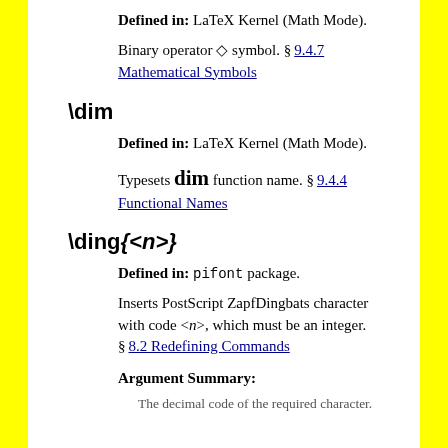Defined in: LaTeX Kernel (Math Mode).
Binary operator ◇ symbol. § 9.4.7 Mathematical Symbols
\dim
Defined in: LaTeX Kernel (Math Mode).
Typesets dim function name. § 9.4.4 Functional Names
\ding{<n>}
Defined in: pifont package.
Inserts PostScript ZapfDingbats character with code <n>, which must be an integer. § 8.2 Redefining Commands
Argument Summary:
The decimal code of the required character.